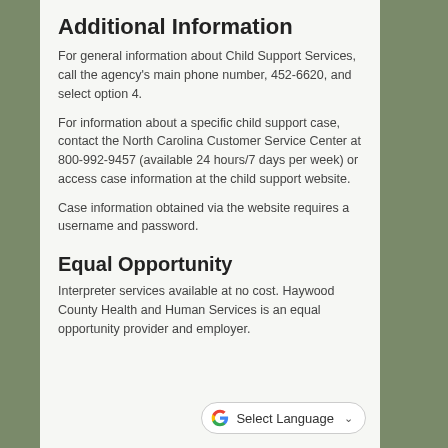Additional Information
For general information about Child Support Services, call the agency's main phone number, 452-6620, and select option 4.
For information about a specific child support case, contact the North Carolina Customer Service Center at 800-992-9457 (available 24 hours/7 days per week) or access case information at the child support website.
Case information obtained via the website requires a username and password.
Equal Opportunity
Interpreter services available at no cost. Haywood County Health and Human Services is an equal opportunity provider and employer.